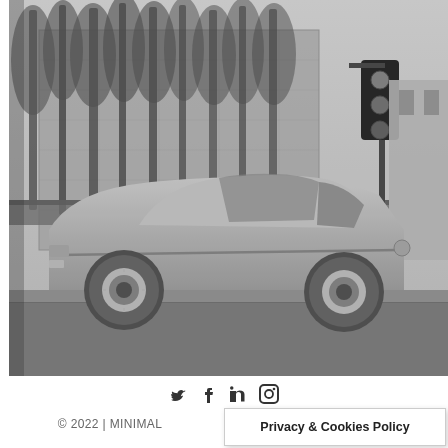[Figure (photo): Black and white photograph of a vintage coupe-style car (1970s muscle/pony car) parked or driving on a street, with tall trees and a traffic light visible in the background. The car faces left and occupies the lower half of the image.]
🐦 f in 📷
© 2022 | MINIMAL
Privacy & Cookies Policy